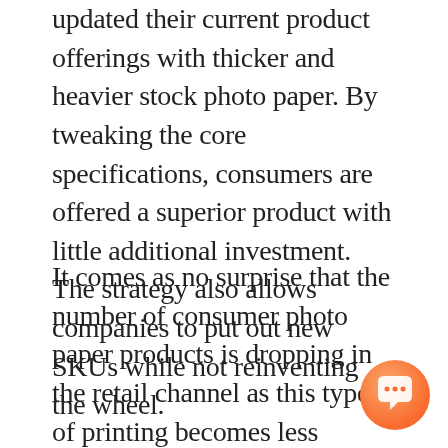updated their current product offerings with thicker and heavier stock photo paper. By tweaking the core specifications, consumers are offered a superior product with little additional investment. The strategy also allows companies to put out new SKUs while not reinventing the wheel.
It comes as no surprise that the number of consumer photo paper products is dropping in the retail channel as this type of printing becomes less popular. However, there is clearly still a market for photo printing among many types of consumers. The consumers seeking to print at home are likely those that are used to the habit and enjoy the ability get that instant gratification or those that higher quality photo paper than is available at